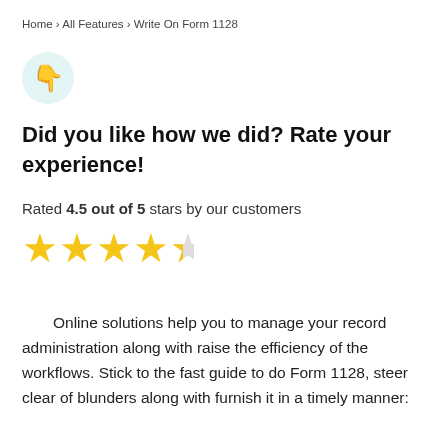Home › All Features › Write On Form 1128
[Figure (illustration): Thumbs down emoji icon inside a light teal circular background]
Did you like how we did? Rate your experience!
Rated 4.5 out of 5 stars by our customers
[Figure (other): 4.5 out of 5 star rating displayed as four full gold stars and one half gold star]
Online solutions help you to manage your record administration along with raise the efficiency of the workflows. Stick to the fast guide to do Form 1128, steer clear of blunders along with furnish it in a timely manner: